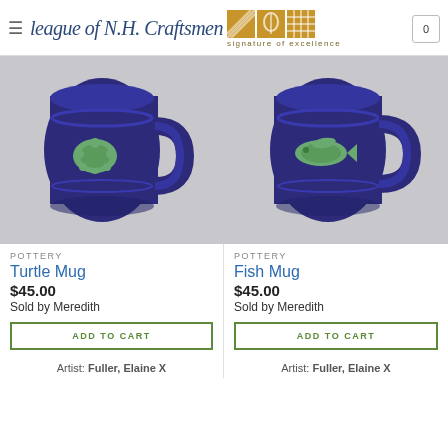League of N.H. Craftsmen — signature of excellence
[Figure (photo): Blue ceramic Turtle Mug with green turtle relief on front]
POTTERY
Turtle Mug
$45.00
Sold by Meredith
ADD TO CART
Artist: Fuller, Elaine X
[Figure (photo): Blue ceramic Fish Mug with green fish relief on front]
POTTERY
Fish Mug
$45.00
Sold by Meredith
ADD TO CART
Artist: Fuller, Elaine X